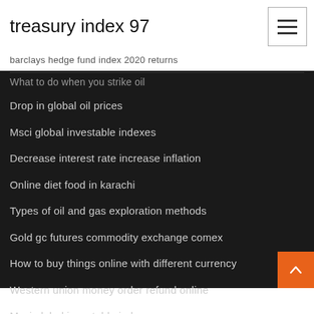treasury index 97
barclays hedge fund index 2020 returns
What to do when you strike oil
Drop in global oil prices
Msci global investable indexes
Decrease interest rate increase inflation
Online diet food in karachi
Types of oil and gas exploration methods
Gold gc futures commodity exchange comex
How to buy things online with different currency
Western union money order refund online
Msci global investable indexes